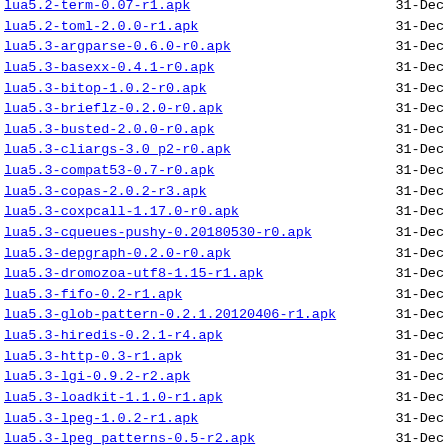lua5.2-term-0.07-r1.apk  31-Dec
lua5.2-toml-2.0.0-r1.apk  31-Dec
lua5.3-argparse-0.6.0-r0.apk  31-Dec
lua5.3-basexx-0.4.1-r0.apk  31-Dec
lua5.3-bitop-1.0.2-r0.apk  31-Dec
lua5.3-brieflz-0.2.0-r0.apk  31-Dec
lua5.3-busted-2.0.0-r0.apk  31-Dec
lua5.3-cliargs-3.0_p2-r0.apk  31-Dec
lua5.3-compat53-0.7-r0.apk  31-Dec
lua5.3-copas-2.0.2-r3.apk  31-Dec
lua5.3-coxpcall-1.17.0-r0.apk  31-Dec
lua5.3-cqueues-pushy-0.20180530-r0.apk  31-Dec
lua5.3-depgraph-0.2.0-r0.apk  31-Dec
lua5.3-dromozoa-utf8-1.15-r1.apk  31-Dec
lua5.3-fifo-0.2-r1.apk  31-Dec
lua5.3-glob-pattern-0.2.1.20120406-r1.apk  31-Dec
lua5.3-hiredis-0.2.1-r4.apk  31-Dec
lua5.3-http-0.3-r1.apk  31-Dec
lua5.3-lgi-0.9.2-r2.apk  31-Dec
lua5.3-loadkit-1.1.0-r1.apk  31-Dec
lua5.3-lpeg-1.0.2-r1.apk  31-Dec
lua5.3-lpeg_patterns-0.5-r2.apk  31-Dec
lua5.3-luasrcdiet-1.0.0-r1.apk  31-Dec
lua5.3-luassert-1.8.0-r0.apk  31-Dec
lua5.3-luatz-0.4.1-r0.apk  22-Mar
lua5.3-lunix-20190403-r0.apk  31-Dec
lua5.3-mediator-1.1.2-r1.apk  31-Dec
lua5.3-mmdb-0.2-r0.apk  31-Dec
lua5.3-moonscript-0.5.0-r1.apk  31-Dec
lua5.3-mpack-1.0.8-r0.apk  31-Dec